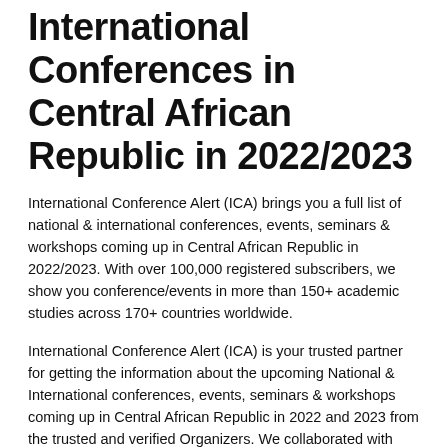International Conferences in Central African Republic in 2022/2023
International Conference Alert (ICA) brings you a full list of national & international conferences, events, seminars & workshops coming up in Central African Republic in 2022/2023. With over 100,000 registered subscribers, we show you conference/events in more than 150+ academic studies across 170+ countries worldwide.
International Conference Alert (ICA) is your trusted partner for getting the information about the upcoming National & International conferences, events, seminars & workshops coming up in Central African Republic in 2022 and 2023 from the trusted and verified Organizers. We collaborated with over 5000 highly trusted universities, learning societies, and organizations to